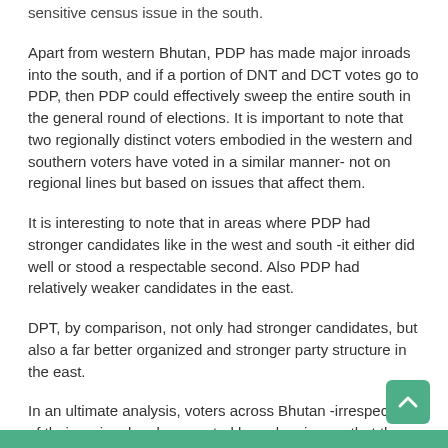sensitive census issue in the south.
Apart from western Bhutan, PDP has made major inroads into the south, and if a portion of DNT and DCT votes go to PDP, then PDP could effectively sweep the entire south in the general round of elections. It is important to note that two regionally distinct voters embodied in the western and southern voters have voted in a similar manner- not on regional lines but based on issues that affect them.
It is interesting to note that in areas where PDP had stronger candidates like in the west and south -it either did well or stood a respectable second. Also PDP had relatively weaker candidates in the east.
DPT, by comparison, not only had stronger candidates, but also a far better organized and stronger party structure in the east.
In an ultimate analysis, voters across Bhutan -irrespective of their regional make up voted based on issues that they felt were most important to them. There is no evidence to suggest